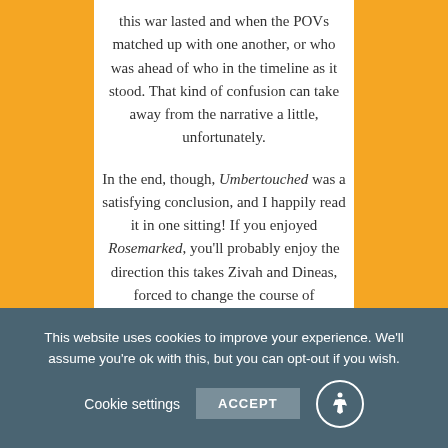this war lasted and when the POVs matched up with one another, or who was ahead of who in the timeline as it stood. That kind of confusion can take away from the narrative a little, unfortunately.
In the end, though, Umbertouched was a satisfying conclusion, and I happily read it in one sitting! If you enjoyed Rosemarked, you'll probably enjoy the direction this takes Zivah and Dineas, forced to change the course of
This website uses cookies to improve your experience. We'll assume you're ok with this, but you can opt-out if you wish. Cookie settings ACCEPT